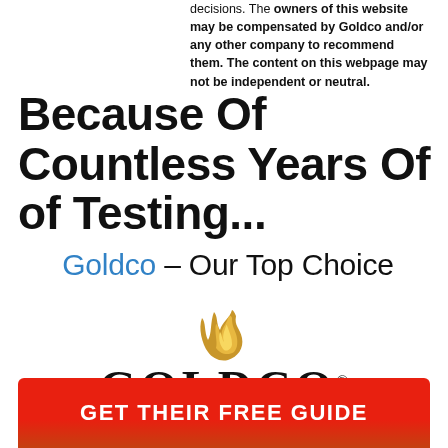decisions. The owners of this website may be compensated by Goldco and/or any other company to recommend them. The content on this webpage may not be independent or neutral.
Because Of Countless Years Of of Testing...
Goldco – Our Top Choice
[Figure (logo): Goldco logo with gold flame icon above the word GOLDCO in large serif bold letters with a registered trademark symbol]
GET THEIR FREE GUIDE